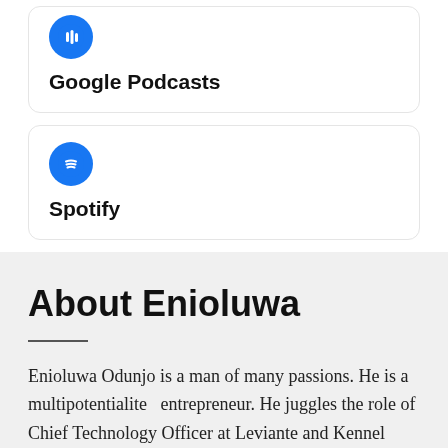[Figure (logo): Google Podcasts card with blue circular icon and text 'Google Podcasts']
[Figure (logo): Spotify card with blue circular Spotify icon and text 'Spotify']
About Enioluwa
Enioluwa Odunjo is a man of many passions. He is a multipotentialite  entrepreneur. He juggles the role of Chief Technology Officer at Leviante and Kennel Pride Nigeria, two startups he co-founded with friends right out